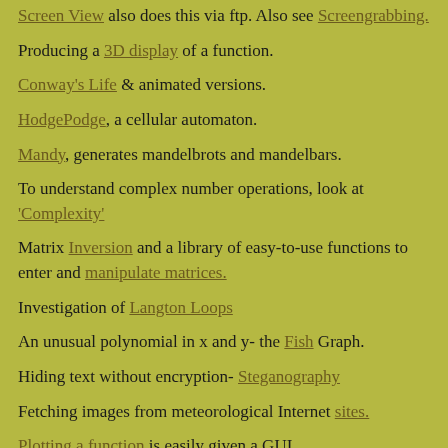Screen View also does this via ftp. Also see Screengrabbing.
Producing a 3D display of a function.
Conway's Life & animated versions.
HodgePodge, a cellular automaton.
Mandy, generates mandelbrots and mandelbars.
To understand complex number operations, look at 'Complexity'
Matrix Inversion and a library of easy-to-use functions to enter and manipulate matrices.
Investigation of Langton Loops
An unusual polynomial in x and y- the Fish Graph.
Hiding text without encryption- Steganography
Fetching images from meteorological Internet sites.
Plotting a function is easily given a GUI.
Using self-modifying Basic code to check number of times a